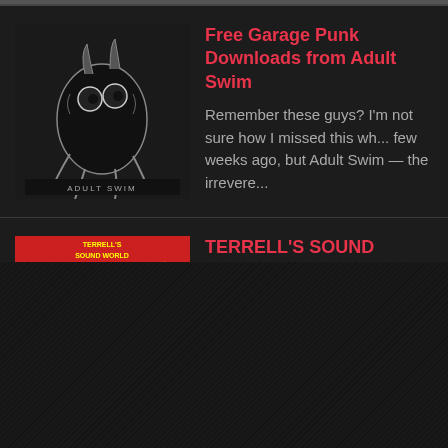[Figure (illustration): Black and white illustration with cartoon monster figure, Adult Swim branding style]
Free Garage Punk Downloads from Adult Swim
Remember these guys? I'm not sure how I missed this wh... few weeks ago, but Adult Swim  — the irrevere...
[Figure (illustration): Red album cover for Terrell's Sound World with colorful illustrated characters]
TERRELL'S SOUND WORLD PLAYLIST
Sunday, May 26, 2013  KSFR, Santa Fe, N.M.  10 p.m. to... Time  Host: Steve Terrell Webcasting! 101.1 FM email...